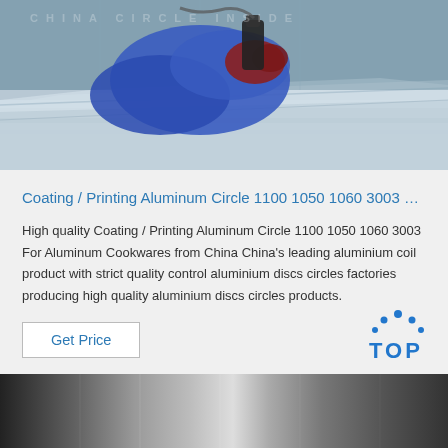[Figure (photo): Worker in blue sleeve and red glove using a tool on aluminum sheet/material in a factory setting]
Coating / Printing Aluminum Circle 1100 1050 1060 3003 …
High quality Coating / Printing Aluminum Circle 1100 1050 1060 3003 For Aluminum Cookwares from China China's leading aluminium coil product with strict quality control aluminium discs circles factories producing high quality aluminium discs circles products.
Get Price
[Figure (logo): TOP logo with blue dot arc above text]
[Figure (photo): Close-up of shiny aluminum coil or sheet surface with metallic sheen]